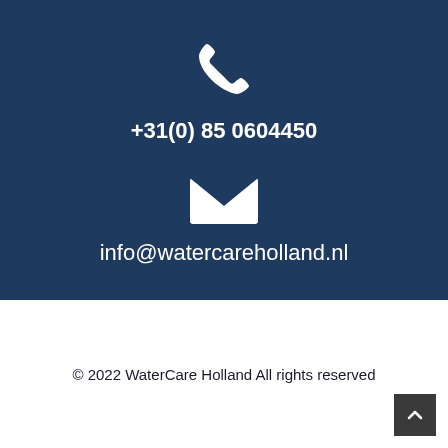[Figure (illustration): White phone handset icon on dark blue background]
+31(0) 85 0604450
[Figure (illustration): White envelope/mail icon on dark blue background]
info@watercareholland.nl
© 2022 WaterCare Holland All rights reserved